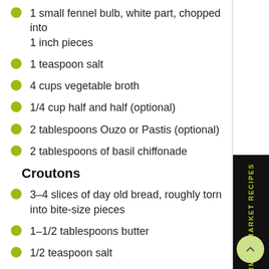1 small fennel bulb, white part, chopped into 1 inch pieces
1 teaspoon salt
4 cups vegetable broth
1/4 cup half and half (optional)
2 tablespoons Ouzo or Pastis (optional)
2 tablespoons of basil chiffonade
Croutons
3–4 slices of day old bread, roughly torn into bite-size pieces
1–1/2 tablespoons butter
1/2 teaspoon salt
Freshly ground pepper